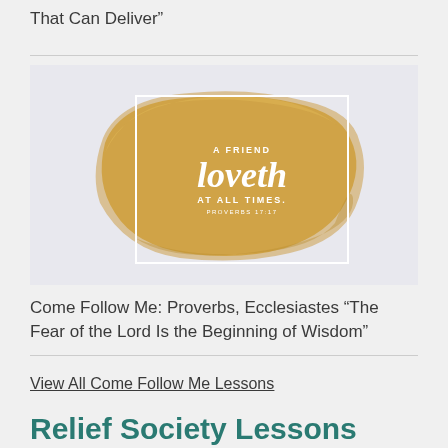That Can Deliver”
[Figure (illustration): Gold brushstroke background with white bordered box containing quote text: 'A FRIEND loveth AT ALL TIMES. PROVERBS 17:17']
Come Follow Me: Proverbs, Ecclesiastes “The Fear of the Lord Is the Beginning of Wisdom”
View All Come Follow Me Lessons
Relief Society Lessons